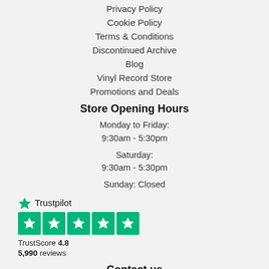Privacy Policy
Cookie Policy
Terms & Conditions
Discontinued Archive
Blog
Vinyl Record Store
Promotions and Deals
Store Opening Hours
Monday to Friday:
9:30am - 5:30pm
Saturday:
9:30am - 5:30pm
Sunday: Closed
[Figure (logo): Trustpilot logo with 5 green star rating boxes showing TrustScore 4.8 from 5,990 reviews]
Contact us